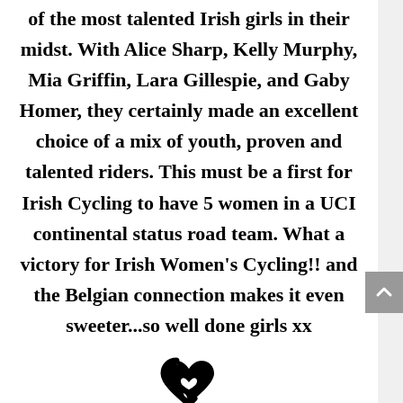of the most talented Irish girls in their midst. With Alice Sharp, Kelly Murphy, Mia Griffin, Lara Gillespie, and Gaby Homer, they certainly made an excellent choice of a mix of youth, proven and talented riders. This must be a first for Irish Cycling to have 5 women in a UCI continental status road team. What a victory for Irish Women's Cycling!! and the Belgian connection makes it even sweeter...so well done girls xx
[Figure (logo): Stylized black logo consisting of two intertwined heart or letter shapes]